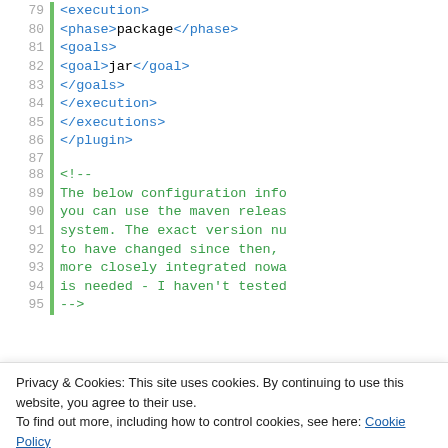Code snippet showing XML (Maven pom.xml) lines 79-95 and 103-104 with syntax highlighting, plus a cookie consent banner overlay.
Privacy & Cookies: This site uses cookies. By continuing to use this website, you agree to their use.
To find out more, including how to control cookies, see here: Cookie Policy
Close and accept